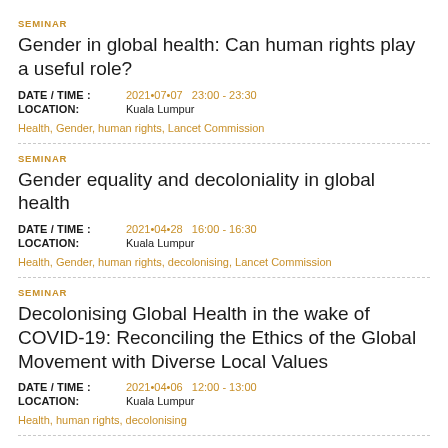SEMINAR
Gender in global health: Can human rights play a useful role?
DATE / TIME :   2021•07•07   23:00 - 23:30
LOCATION:   Kuala Lumpur
Health, Gender, human rights, Lancet Commission
SEMINAR
Gender equality and decoloniality in global health
DATE / TIME :   2021•04•28   16:00 - 16:30
LOCATION:   Kuala Lumpur
Health, Gender, human rights, decolonising, Lancet Commission
SEMINAR
Decolonising Global Health in the wake of COVID-19: Reconciling the Ethics of the Global Movement with Diverse Local Values
DATE / TIME :   2021•04•06   12:00 - 13:00
LOCATION:   Kuala Lumpur
Health, human rights, decolonising